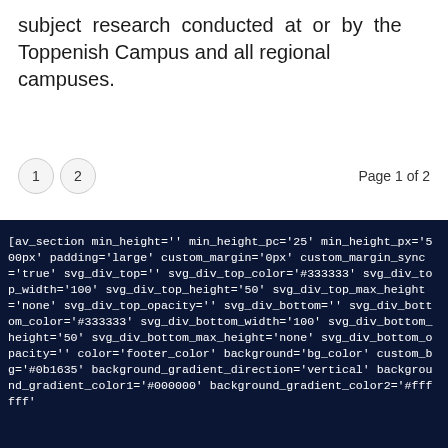subject research conducted at or by the Toppenish Campus and all regional campuses.
1  2  Page 1 of 2
[av_section min_height='' min_height_pc='25' min_height_px='500px' padding='large' custom_margin='0px' custom_margin_sync='true' svg_div_top='' svg_div_top_color='#333333' svg_div_top_width='100' svg_div_top_height='50' svg_div_top_max_height='none' svg_div_top_opacity='' svg_div_bottom='' svg_div_bottom_color='#333333' svg_div_bottom_width='100' svg_div_bottom_height='50' svg_div_bottom_max_height='none' svg_div_bottom_opacity='' color='footer_color' background='bg_color' custom_bg='#0b1635' background_gradient_direction='vertical' background_gradient_color1='#000000' background_gradient_color2='#ffffff'